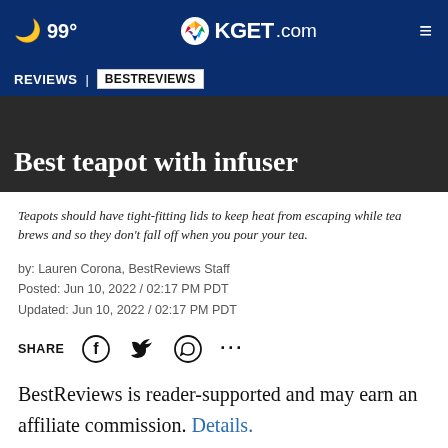🌙 99° | KGET.com
REVIEWS | BESTREVIEWS
Best teapot with infuser
Teapots should have tight-fitting lids to keep heat from escaping while tea brews and so they don't fall off when you pour your tea.
by: Lauren Corona, BestReviews Staff
Posted: Jun 10, 2022 / 02:17 PM PDT
Updated: Jun 10, 2022 / 02:17 PM PDT
SHARE
BestReviews is reader-supported and may earn an affiliate commission. Details.